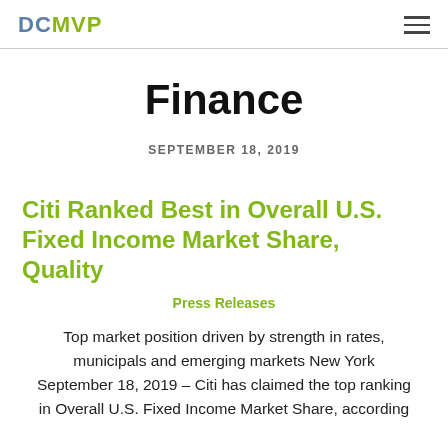DCMVP
Finance
SEPTEMBER 18, 2019
Citi Ranked Best in Overall U.S. Fixed Income Market Share, Quality
Press Releases
Top market position driven by strength in rates, municipals and emerging markets New York September 18, 2019 – Citi has claimed the top ranking in Overall U.S. Fixed Income Market Share, according